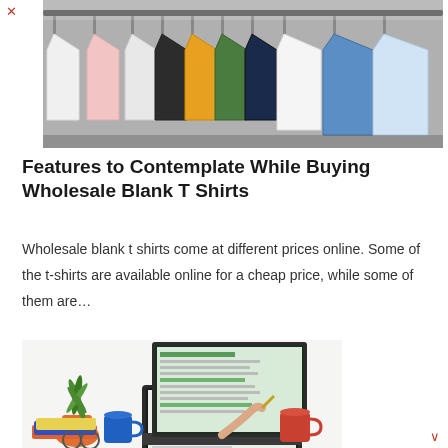[Figure (photo): Colorful t-shirts hanging on a clothing rack, viewed from the front, showing white, pink, orange, yellow, green, dark, and blue shirts.]
Features to Contemplate While Buying Wholesale Blank T Shirts
Wholesale blank t shirts come at different prices online. Some of the t-shirts are available online for a cheap price, while some of them are…
[Figure (photo): A person working at a laptop on a white desk, with a green plant in an orange pot, a blue mug, a red/orange mug, glasses, notebooks, and a pen visible.]